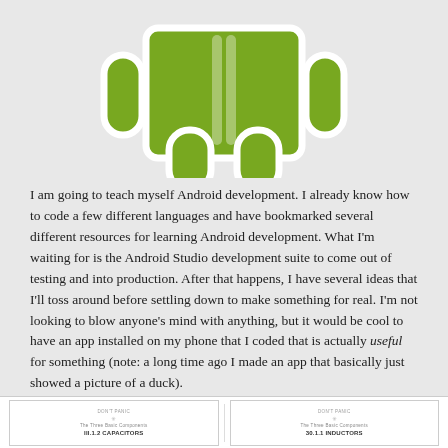[Figure (logo): Android robot logo (green) at top of page, partially cropped]
I am going to teach myself Android development. I already know how to code a few different languages and have bookmarked several different resources for learning Android development. What I'm waiting for is the Android Studio development suite to come out of testing and into production. After that happens, I have several ideas that I'll toss around before settling down to make something for real. I'm not looking to blow anyone's mind with anything, but it would be cool to have an app installed on my phone that I coded that is actually useful for something (note: a long time ago I made an app that basically just showed a picture of a duck).
Don't Panic! - The Engineering Binder
[Figure (screenshot): Two thumbnail previews of document pages titled with engineering binder content about capacitors and inductors]